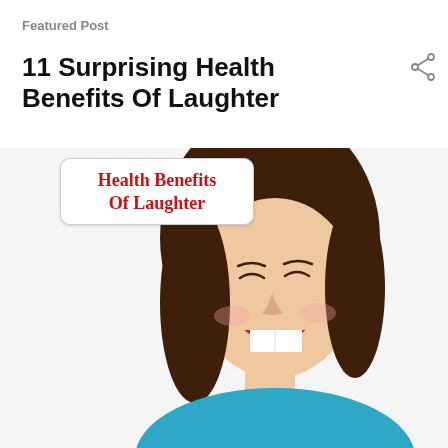Featured Post
11 Surprising Health Benefits Of Laughter
[Figure (photo): A young woman with brown hair laughing enthusiastically, wearing a blue shirt, with a white background. Overlaid badge in upper left reads 'Health Benefits Of Laughter' in red bold serif text on a white rounded-rectangle label.]